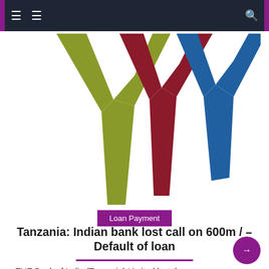Navigation bar with menu icons and search icon
[Figure (logo): Three stylized Y-shaped figures in olive/green, dark red/crimson, and blue colors arranged side by side on a white background — appears to be a website or organization logo]
Loan Payment
Tanzania: Indian bank lost call on 600m / – Default of loan
THE Bank of India (Tanzania) Limited lost the appeal challenging the refusal of the Commercial Division of the High Court to order its three clients to pay interest for